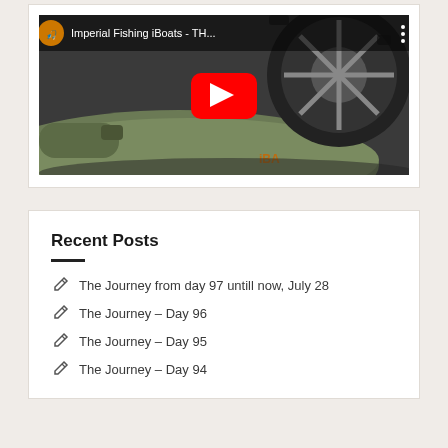[Figure (screenshot): YouTube video thumbnail showing an inflatable green fishing boat next to a vehicle wheel/tire. Video title reads 'Imperial Fishing iBoats - TH...' with a red play button in the center.]
Recent Posts
The Journey from day 97 untill now, July 28
The Journey – Day 96
The Journey – Day 95
The Journey – Day 94